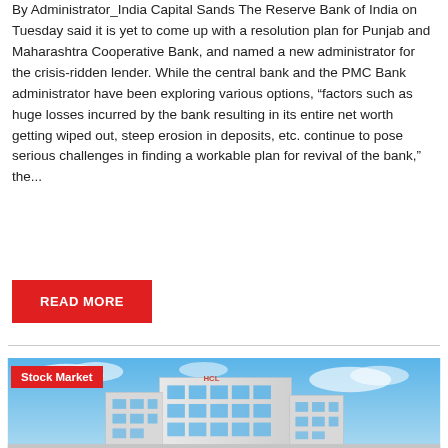By Administrator_India Capital Sands The Reserve Bank of India on Tuesday said it is yet to come up with a resolution plan for Punjab and Maharashtra Cooperative Bank, and named a new administrator for the crisis-ridden lender. While the central bank and the PMC Bank administrator have been exploring various options, “factors such as huge losses incurred by the bank resulting in its entire net worth getting wiped out, steep erosion in deposits, etc. continue to pose serious challenges in finding a workable plan for revival of the bank,” the...
READ MORE
[Figure (photo): A modern white commercial office building with blue glass windows against a blue sky with clouds. A red 'Stock Market' label is overlaid in the top-left corner of the image.]